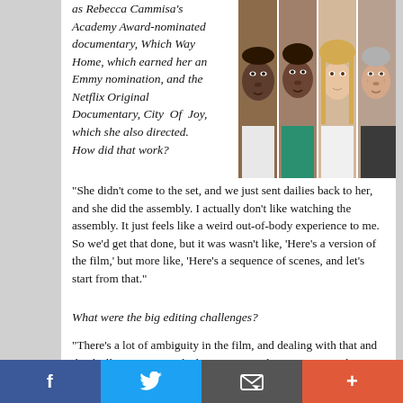as Rebecca Cammisa's Academy Award-nominated documentary, Which Way Home, which earned her an Emmy nomination, and the Netflix Original Documentary, City Of Joy, which she also directed. How did that work?
[Figure (photo): Composite photo of four faces (young Black man, Black woman, blonde white woman, older white man) shown in vertical strips side by side]
“She didn’t come to the set, and we just sent dailies back to her, and she did the assembly. I actually don’t like watching the assembly. It just feels like a weird out-of-body experience to me. So we’d get that done, but it was wasn’t like, ‘Here’s a version of the film,’ but more like, ‘Here’s a sequence of scenes, and let’s start from that.”
What were the big editing challenges?
“There’s a lot of ambiguity in the film, and dealing with that and the thriller aspect was the big one. How do you give people enough information so they’re willing to go on the ride, but not too much that you spoil any of the surprises? So you’re constantly negotiating all that, as just one line here and there can make a
Facebook  Twitter  Email  +